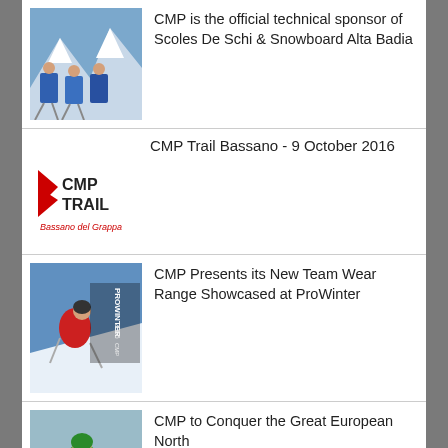[Figure (photo): Group of people in blue ski jackets on a snowy mountain slope]
CMP is the official technical sponsor of Scoles De Schi & Snowboard Alta Badia
CMP Trail Bassano - 9 October 2016
[Figure (logo): CMP Trail Bassano del Grappa logo in red and black]
[Figure (photo): Skier in red jacket on slopes with ProWinter 2015 text overlay]
CMP Presents its New Team Wear Range Showcased at ProWinter
[Figure (photo): Person in green jacket snowboarding in snowy conditions]
CMP to Conquer the Great European North